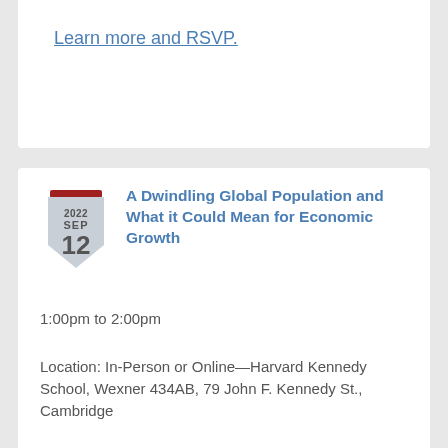Learn more and RSVP.
A Dwindling Global Population and What it Could Mean for Economic Growth
1:00pm to 2:00pm
Location: In-Person or Online—Harvard Kennedy School, Wexner 434AB, 79 John F. Kennedy St., Cambridge
With more people on the planet aged over 65 than under 5 for the